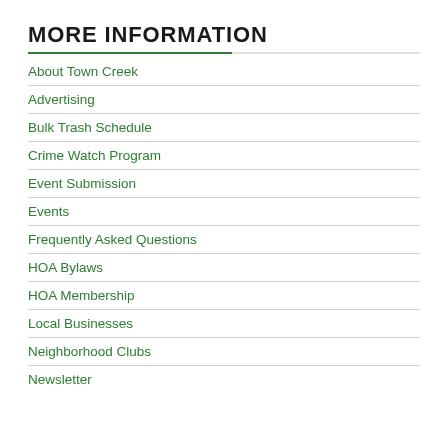MORE INFORMATION
About Town Creek
Advertising
Bulk Trash Schedule
Crime Watch Program
Event Submission
Events
Frequently Asked Questions
HOA Bylaws
HOA Membership
Local Businesses
Neighborhood Clubs
Newsletter